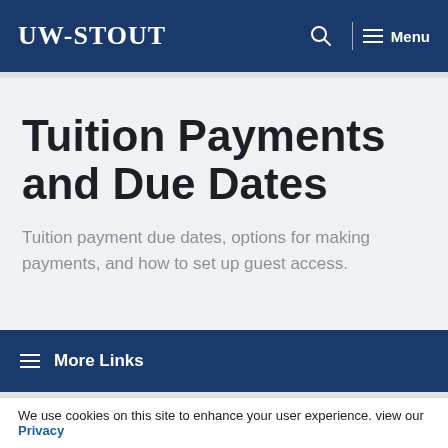UW-STOUT | Menu
Tuition Payments and Due Dates
Tuition payment due dates, options for making payments, and how to set up guest access.
More Links
We use cookies on this site to enhance your user experience. view our Privacy